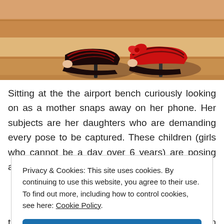[Figure (photo): Close-up photo of red and black lace high-heel shoes with red bow on a wooden floor background.]
Sitting at the the airport bench curiously looking on as a mother snaps away on her phone. Her subjects are her daughters who are demanding every pose to be captured. These children (girls who cannot be a day over 6 years) are posing away, blowing kisses and attempting
Privacy & Cookies: This site uses cookies. By continuing to use this website, you agree to their use.
To find out more, including how to control cookies, see here: Cookie Policy
Close and accept
thinking about how they would have been evading